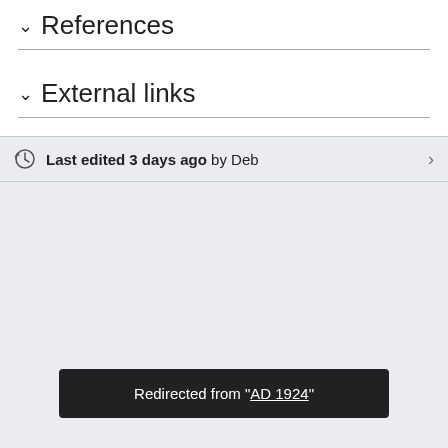References
External links
Last edited 3 days ago by Deb
Redirected from "AD 1924"